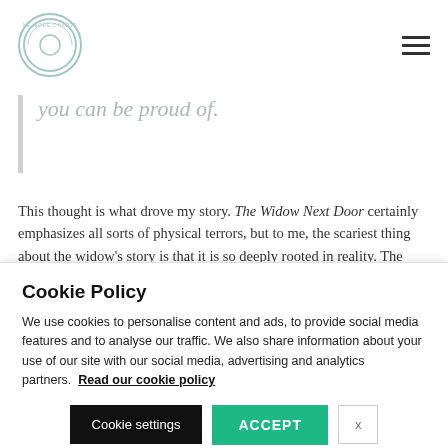One More Chapter logo and navigation menu
you can be proud of.
This thought is what drove my story. The Widow Next Door certainly emphasizes all sorts of physical terrors, but to me, the scariest thing about the widow's story is that it is so deeply rooted in reality. The widow is living out the nightmare so many of us fear – alone with her regrets, she is forced to
Cookie Policy
We use cookies to personalise content and ads, to provide social media features and to analyse our traffic. We also share information about your use of our site with our social media, advertising and analytics partners. Read our cookie policy